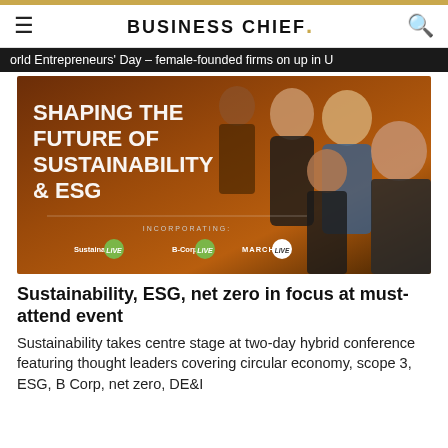BUSINESS CHIEF.
orld Entrepreneurs' Day – female-founded firms on up in U
[Figure (photo): Promotional banner image for a sustainability event titled 'Shaping the Future of Sustainability & ESG', showing several professional speakers in background with an orange/brown overlay. Bottom includes logos for Sustainability LIVE, B-Corp LIVE, and MARCH LIVE under the label 'INCORPORATING:']
Sustainability, ESG, net zero in focus at must-attend event
Sustainability takes centre stage at two-day hybrid conference featuring thought leaders covering circular economy, scope 3, ESG, B Corp, net zero, DE&I